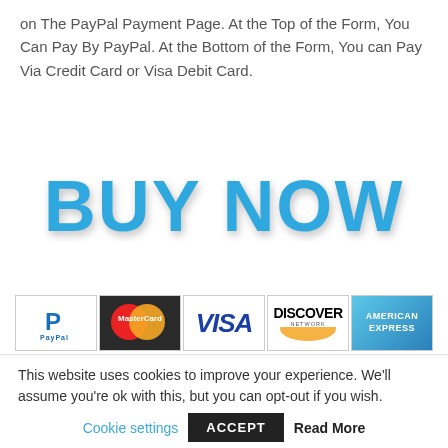on The PayPal Payment Page. At the Top of the Form, You Can Pay By PayPal. At the Bottom of the Form, You can Pay Via Credit Card or Visa Debit Card.
BUY NOW
[Figure (logo): Payment method logos: PayPal, MasterCard, Visa, Discover Network, American Express]
[Figure (other): Golden/tan rounded rectangle bar]
This website uses cookies to improve your experience. We'll assume you're ok with this, but you can opt-out if you wish.
Cookie settings   ACCEPT   Read More